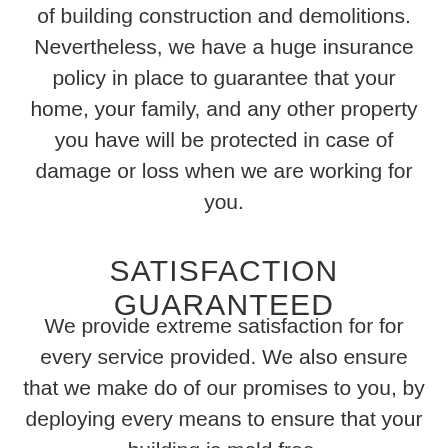of building construction and demolitions. Nevertheless, we have a huge insurance policy in place to guarantee that your home, your family, and any other property you have will be protected in case of damage or loss when we are working for you.
SATISFACTION GUARANTEED
We provide extreme satisfaction for for every service provided. We also ensure that we make do of our promises to you, by deploying every means to ensure that your building is mold free.